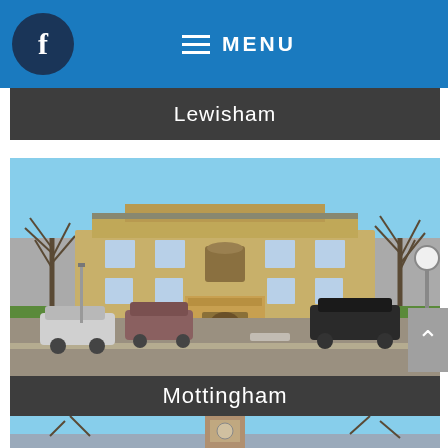f  ☰ MENU
[Figure (photo): Partial image strip showing text 'Lewisham' on dark bar]
[Figure (photo): Photograph of Mottingham civic building, a yellow-brick Georgian style structure with cars parked in front and a brick pillar with coat of arms in the foreground. Bare winter trees visible on sides.]
Mottingham
[Figure (photo): Partial photograph of a clock tower building against a blue sky with bare tree branches visible]